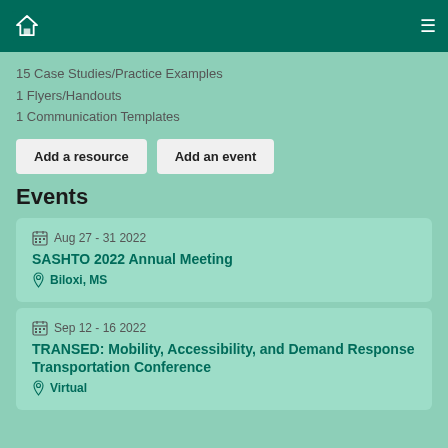TPW navigation header
15 Case Studies/Practice Examples
1 Flyers/Handouts
1 Communication Templates
Add a resource | Add an event
Events
Aug 27 - 31 2022 | SASHTO 2022 Annual Meeting | Biloxi, MS
Sep 12 - 16 2022 | TRANSED: Mobility, Accessibility, and Demand Response Transportation Conference | Virtual